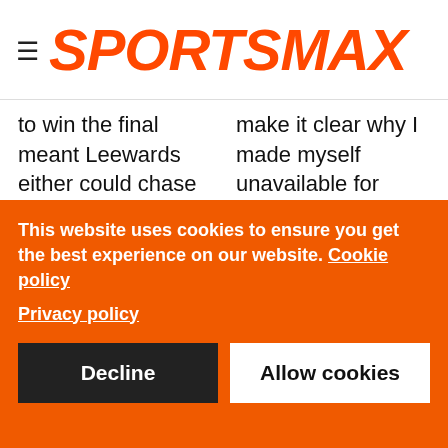SPORTSMAX
to win the final meant Leewards either could chase down the 106 to win or just bat out the final session. While Barbados had to get all 10 wickets. When
make it clear why I made myself unavailable for selection during the recent summer schedule, it was important for me to finish my grieving process
This website uses cookies to ensure you get the best experience on our website. Cookie policy Privacy policy
Decline
Allow cookies